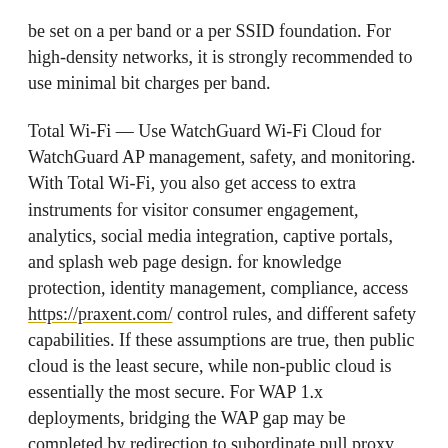be set on a per band or a per SSID foundation. For high-density networks, it is strongly recommended to use minimal bit charges per band.
Total Wi-Fi — Use WatchGuard Wi-Fi Cloud for WatchGuard AP management, safety, and monitoring. With Total Wi-Fi, you also get access to extra instruments for visitor consumer engagement, analytics, social media integration, captive portals, and splash web page design. for knowledge protection, identity management, compliance, access https://praxent.com/ control rules, and different safety capabilities. If these assumptions are true, then public cloud is the least secure, while non-public cloud is essentially the most secure. For WAP 1.x deployments, bridging the WAP gap may be completed by redirection to subordinate pull proxy (gateway) with WAP 1.2.
We find that the VPN clients have numerous configuration flaws, which an attacker can exploit to strip off visitors